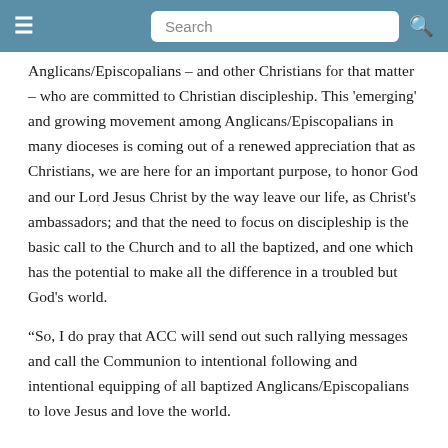Search
Anglicans/Episcopalians – and other Christians for that matter – who are committed to Christian discipleship. This 'emerging' and growing movement among Anglicans/Episcopalians in many dioceses is coming out of a renewed appreciation that as Christians, we are here for an important purpose, to honor God and our Lord Jesus Christ by the way leave our life, as Christ's ambassadors; and that the need to focus on discipleship is the basic call to the Church and to all the baptized, and one which has the potential to make all the difference in a troubled but God's world.
“So, I do pray that ACC will send out such rallying messages and call the Communion to intentional following and intentional equipping of all baptized Anglicans/Episcopalians to love Jesus and love the world.